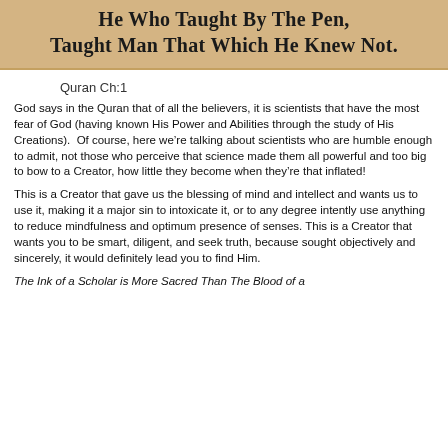He Who Taught By The Pen, Taught Man That Which He Knew Not.
Quran Ch:1
God says in the Quran that of all the believers, it is scientists that have the most fear of God (having known His Power and Abilities through the study of His Creations).  Of course, here we're talking about scientists who are humble enough to admit, not those who perceive that science made them all powerful and too big to bow to a Creator, how little they become when they're that inflated!
This is a Creator that gave us the blessing of mind and intellect and wants us to use it, making it a major sin to intoxicate it, or to any degree intently use anything to reduce mindfulness and optimum presence of senses. This is a Creator that wants you to be smart, diligent, and seek truth, because sought objectively and sincerely, it would definitely lead you to find Him.
The Ink of a Scholar is More Sacred Than The Blood of a